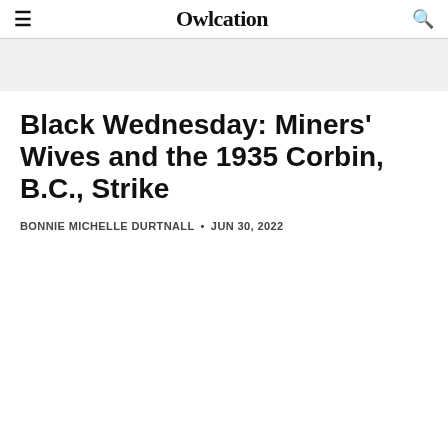Owlcation
Black Wednesday: Miners' Wives and the 1935 Corbin, B.C., Strike
BONNIE MICHELLE DURTNALL • JUN 30, 2022